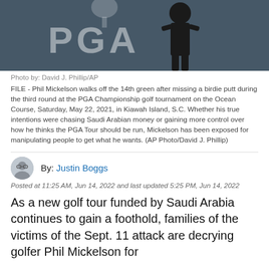[Figure (photo): Phil Mickelson standing in front of a PGA Championship backdrop, photographed by David J. Phillip/AP]
Photo by: David J. Phillip/AP

FILE - Phil Mickelson walks off the 14th green after missing a birdie putt during the third round at the PGA Championship golf tournament on the Ocean Course, Saturday, May 22, 2021, in Kiawah Island, S.C. Whether his true intentions were chasing Saudi Arabian money or gaining more control over how he thinks the PGA Tour should be run, Mickelson has been exposed for manipulating people to get what he wants. (AP Photo/David J. Phillip)
By: Justin Boggs
Posted at 11:25 AM, Jun 14, 2022 and last updated 5:25 PM, Jun 14, 2022
As a new golf tour funded by Saudi Arabia continues to gain a foothold, families of the victims of the Sept. 11 attack are decrying golfer Phil Mickelson for